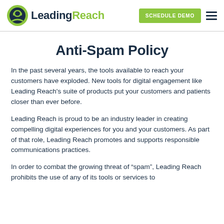LeadingReach | SCHEDULE DEMO
Anti-Spam Policy
In the past several years, the tools available to reach your customers have exploded. New tools for digital engagement like Leading Reach’s suite of products put your customers and patients closer than ever before.
Leading Reach is proud to be an industry leader in creating compelling digital experiences for you and your customers. As part of that role, Leading Reach promotes and supports responsible communications practices.
In order to combat the growing threat of “spam”, Leading Reach prohibits the use of any of its tools or services to